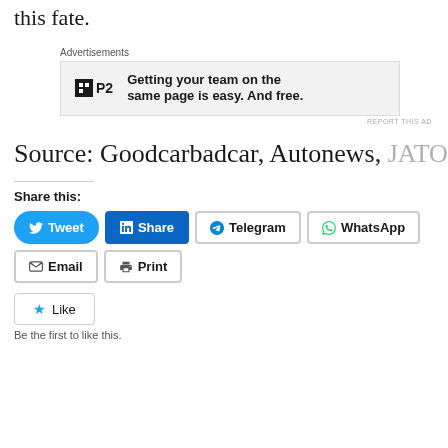this fate.
[Figure (other): Advertisement box for P2 service: Getting your team on the same page is easy. And free.]
Source: Goodcarbadcar, Autonews, JATO
Share this:
[Figure (other): Social share buttons: Tweet, Share (LinkedIn), Telegram, WhatsApp, Email, Print]
[Figure (other): Like button with star icon]
Be the first to like this.